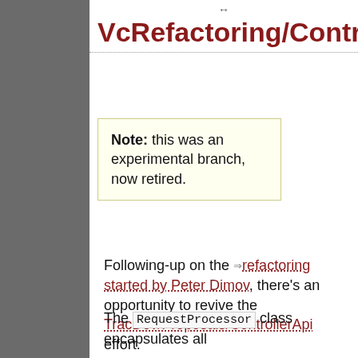VcRefactoring/Controller
Note: this was an experimental branch, now retired.
Following-up on the refactoring started by Peter Dimov, there's an opportunity to revive the TracDev/Proposals/ControllerApi effort.
The RequestProcessor class encapsulates all